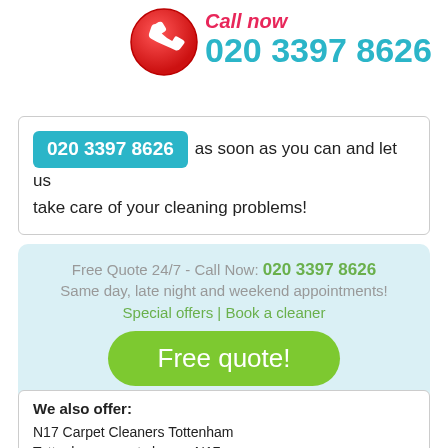[Figure (logo): Red phone icon circle with white handset]
Call now 020 3397 8626
020 3397 8626 as soon as you can and let us take care of your cleaning problems!
Free Quote 24/7 - Call Now: 020 3397 8626
Same day, late night and weekend appointments!
Special offers | Book a cleaner
Free quote!
We also offer:
N17 Carpet Cleaners Tottenham
Tottenham carpet cleaner N17
N17 carpet cleaning machines Tottenham
carpet cleaning agencies N17
domestic carpet cleaning Tottenham